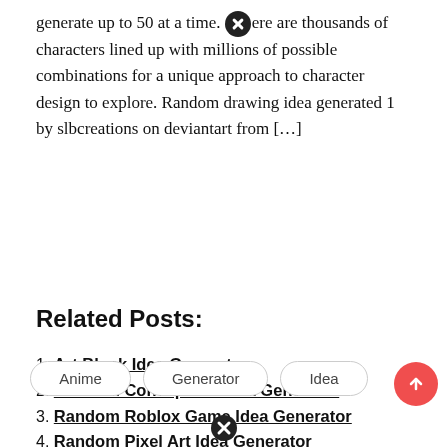generate up to 50 at a time. ⊗ere are thousands of characters lined up with millions of possible combinations for a unique approach to character design to explore. Random drawing idea generated 1 by slbcreations on deviantart from …
Related Posts:
1. Art Block Idea Generator
2. Random Concept Art Idea Generator
3. Random Roblox Game Idea Generator
4. Random Pixel Art Idea Generator
5. Art Idea Generator Wheel
6. Art Theme Ideas Generator
7. Gift Card Code Generator Fortnite
Anime  Generator  Idea